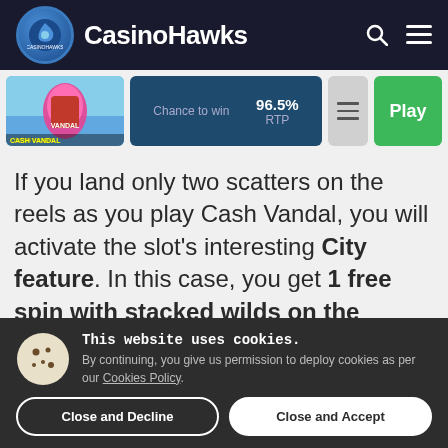CasinoHawks
[Figure (screenshot): Cash Vandal slot game thumbnail with colorful spray paint graphics]
Chance to win   96.5% RTP   Play
If you land only two scatters on the reels as you play Cash Vandal, you will activate the slot's interesting City feature. In this case, you get 1 free spin with stacked wilds on the fourth reel, plus an extra reel
This website uses cookies. By continuing, you give us permission to deploy cookies as per our Cookies Policy.
Close and Decline   Close and Accept